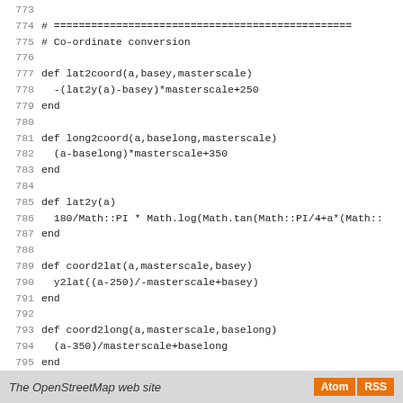773
774 # =================================================
775 # Co-ordinate conversion
776
777 def lat2coord(a,basey,masterscale)
778   -(lat2y(a)-basey)*masterscale+250
779 end
780
781 def long2coord(a,baselong,masterscale)
782   (a-baselong)*masterscale+350
783 end
784
785 def lat2y(a)
786   180/Math::PI * Math.log(Math.tan(Math::PI/4+a*(Math::
787 end
788
789 def coord2lat(a,masterscale,basey)
790   y2lat((a-250)/-masterscale+basey)
791 end
792
793 def coord2long(a,masterscale,baselong)
794   (a-350)/masterscale+baselong
795 end
796
797 def y2lat(a)
798   180/Math::PI * (2*Math.atan(Math.exp(a*Math::PI/180))
799 end
800
801 end
The OpenStreetMap web site